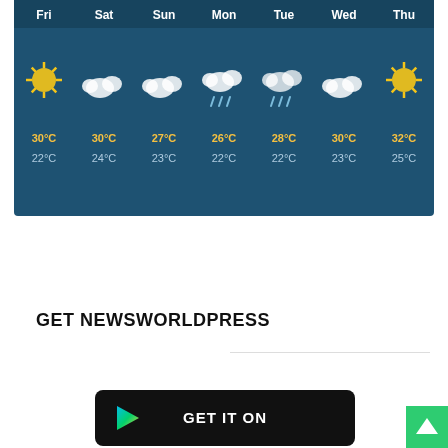[Figure (screenshot): Weather widget showing 7-day forecast (Fri–Thu) with weather icons and temperatures. Dark blue background. Days: Fri 30°C/22°C (sunny), Sat 30°C/24°C (cloudy), Sun 27°C/23°C (cloudy), Mon 26°C/22°C (rain), Tue 28°C/22°C (rain), Wed 30°C/23°C (cloudy), Thu 32°C/25°C (sunny).]
GET NEWSWORLDPRESS
[Figure (screenshot): Google Play Store badge with 'GET IT ON' text and Play Store logo on black rounded rectangle background.]